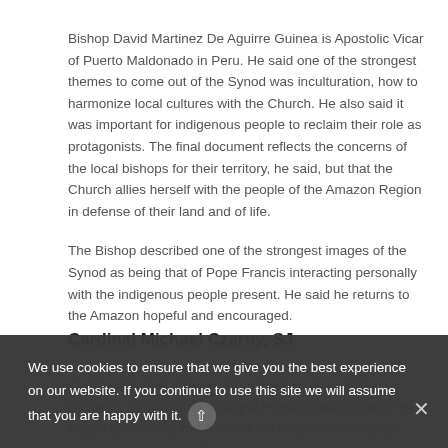Bishop David Martinez De Aguirre Guinea is Apostolic Vicar of Puerto Maldonado in Peru. He said one of the strongest themes to come out of the Synod was inculturation, how to harmonize local cultures with the Church. He also said it was important for indigenous people to reclaim their role as protagonists. The final document reflects the concerns of the local bishops for their territory, he said, but that the Church allies herself with the people of the Amazon Region in defense of their land and of life.
The Bishop described one of the strongest images of the Synod as being that of Pope Francis interacting personally with the indigenous people present. He said he returns to the Amazon hopeful and encouraged.
Cardinal Michael Czerny, SJ
Cardinal Michael Czerny, SJ, is the Secretary of the Dicastery for Promoting Integral Human Development. He began by echoing the words of the Pope in thanking all media for helping the Synod to reach the people. Cardinal Czerny thanked journalist for their "energy, interest and efforts", helping the Synod to speak and to be
We use cookies to ensure that we give you the best experience on our website. If you continue to use this site we will assume that you are happy with it.